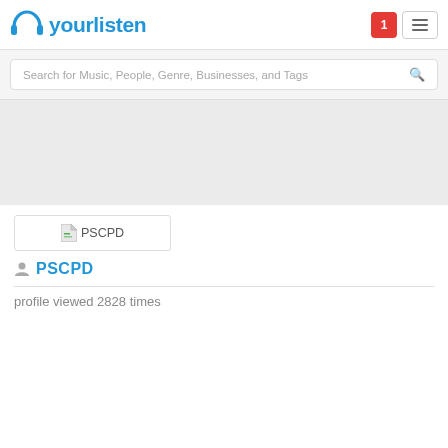[Figure (logo): yourlisten logo with headphones icon and text 'yourlisten' in blue]
Search for Music, People, Genre, Businesses, and Tags
[Figure (screenshot): Profile banner showing PSCPD with file icon]
PSCPD
profile viewed 2828 times